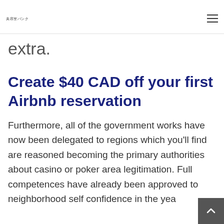美容室バンク  ≡
extra.
Create $40 CAD off your first Airbnb reservation
Furthermore, all of the government works have now been delegated to regions which you'll find are reasoned becoming the primary authorities about casino or poker area legitimation. Full competences have already been approved to neighborhood self confidence in the year 1995, and now ever since that world of